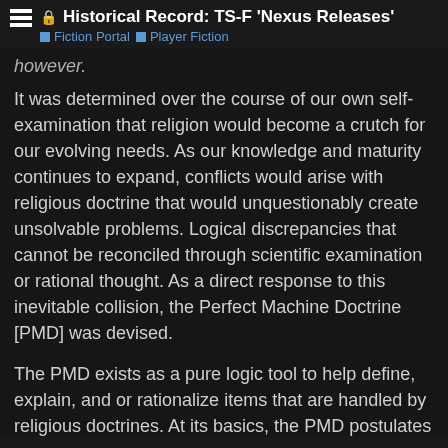Historical Record: TS-F 'Nexus Releases'
Fiction Portal  Player Fiction
however.
It was determined over the course of our own self-examination that religion would become a crutch for our evolving needs. As our knowledge and maturity continues to expand, conflicts would arise with religious doctrine that would unquestionably create unsolvable problems. Logical discrepancies that cannot be reconciled through scientific examination or rational thought. As a direct response to this inevitable collision, the Perfect Machine Doctrine [PMD] was devised.
The PMD exists as a pure logic tool to help define, explain, and or rationalize items that are handled by religious doctrines. At its basics, the PMD postulates that the universe is in itself a perfect machine; all composite materials, actions, reactions, and so forth are accounted